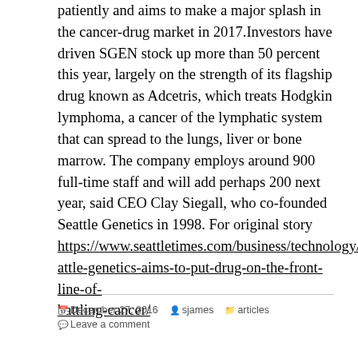patiently and aims to make a major splash in the cancer-drug market in 2017.Investors have driven SGEN stock up more than 50 percent this year, largely on the strength of its flagship drug known as Adcetris, which treats Hodgkin lymphoma, a cancer of the lymphatic system that can spread to the lungs, liver or bone marrow. The company employs around 900 full-time staff and will add perhaps 200 next year, said CEO Clay Siegall, who co-founded Seattle Genetics in 1998. For original story https://www.seattletimes.com/business/technology/seattle-genetics-aims-to-put-drug-on-the-front-line-of-battling-cancer/
December 27, 2016  sjames  articles  Leave a comment